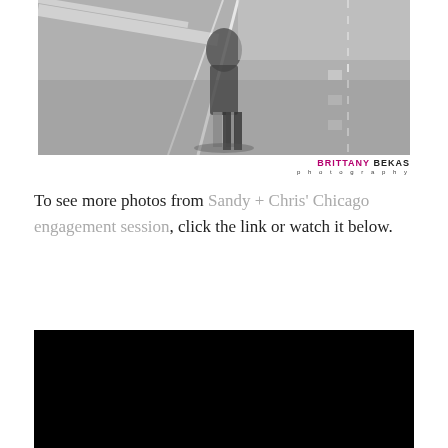[Figure (photo): Black and white photograph of a couple embracing on a street/crosswalk, viewed from above or at angle, with road markings visible]
BRITTANY BEKAS photography
To see more photos from Sandy + Chris' Chicago engagement session, click the link or watch it below.
[Figure (screenshot): Black video player area (embedded video, dark/black screen)]